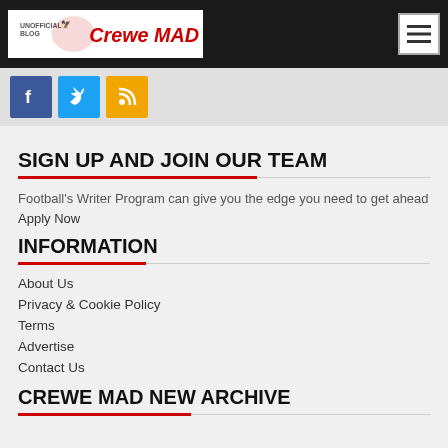Crewe MAD - Unofficial Blog
[Figure (logo): Crewe MAD unofficial blog logo with red text on white background]
[Figure (illustration): Hamburger menu button icon with three horizontal lines]
[Figure (infographic): Social media icons: Facebook (blue), Twitter (blue), RSS (orange)]
SIGN UP AND JOIN OUR TEAM
Football's Writer Program can give you the edge you need to get ahead Apply Now
INFORMATION
About Us
Privacy & Cookie Policy
Terms
Advertise
Contact Us
CREWE MAD NEW ARCHIVE